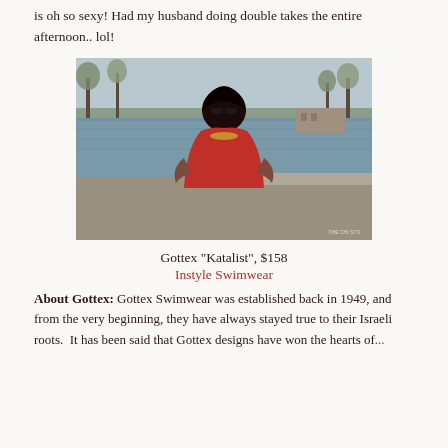is oh so sexy! Had my husband doing double takes the entire afternoon.. lol!
[Figure (photo): Woman in a red swimsuit standing outdoors near a pond or lake, wearing sunglasses and a necklace, with trees in the background. Watermark text in bottom right corner.]
Gottex "Katalist", $158
Instyle Swimwear
About Gottex: Gottex Swimwear was established back in 1949, and from the very beginning, they have always stayed true to their Israeli roots.  It has been said that Gottex designs have won the hearts of...